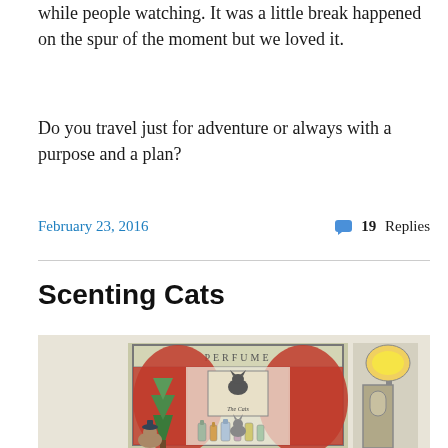while people watching. It was a little break happened on the spur of the moment but we loved it.
Do you travel just for adventure or always with a purpose and a plan?
February 23, 2016     19 Replies
Scenting Cats
[Figure (illustration): Illustration of cats in a perfume shop window with red curtains, various perfume bottles, and a street lamp on the right side. A sign reads 'PERFUME' at the top and 'The Cats' on an inner frame.]